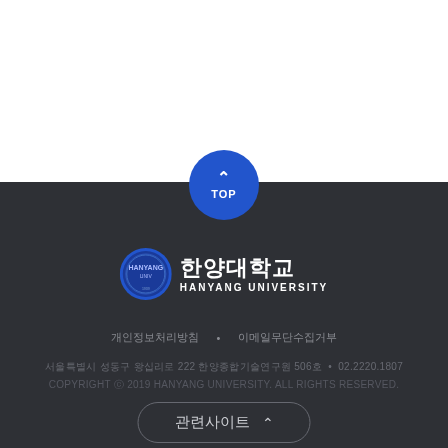[Figure (logo): Hanyang University logo with circular seal and Korean/English name: 한양대학교 HANYANG UNIVERSITY]
개인정보처리방침 · 이메일무단수집거부
서울특별시 성동구 왕십리로 222 한양종합기술연구원 506호 • 02.2220.1807
COPYRIGHT ⓒ 2019 HANYANG UNIVERSITY. ALL RIGHTS RESERVED.
관련사이트 ∧